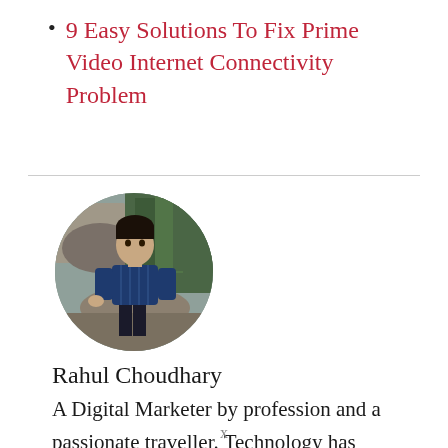9 Easy Solutions To Fix Prime Video Internet Connectivity Problem
[Figure (photo): Circular profile photo of Rahul Choudhary, a young man in a blue puffer jacket standing outdoors with rocky and forested mountain scenery behind him.]
Rahul Choudhary
A Digital Marketer by profession and a passionate traveller. Technology has